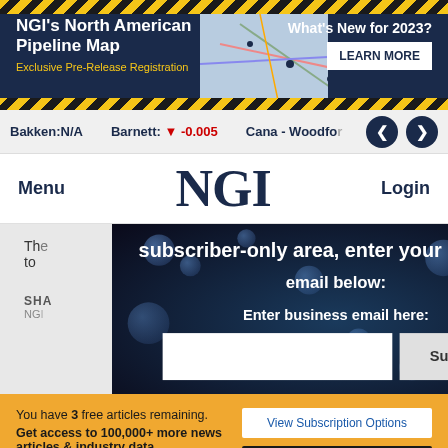[Figure (screenshot): NGI North American Pipeline Map banner with yellow construction stripes, map image, and 'What's New for 2023? LEARN MORE' button]
Bakken:N/A   Barnett: ▼ -0.005   Cana - Woodford
Menu   NGI   Login
subscriber-only area, enter your business email below:
Enter business email here:
Submit
You have 3 free articles remaining. Get access to 100,000+ more news articles & industry data.
View Subscription Options
Sign In